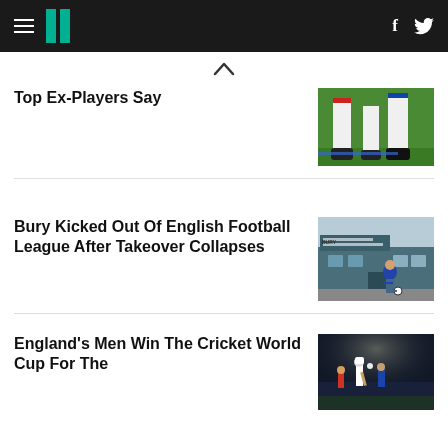HuffPost UK — navigation header with hamburger menu, logo, Facebook and Twitter icons
Top Ex-Players Say
[Figure (photo): Close-up of soccer players' legs and feet on green grass field]
Bury Kicked Out Of English Football League After Takeover Collapses
[Figure (photo): Young boy kicking a football outside Bury FC stadium building]
England's Men Win The Cricket World Cup For The
[Figure (photo): Cricket match at night, players in action under floodlights]